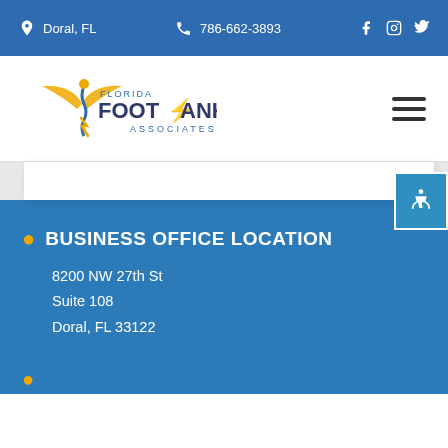Doral, FL   786-662-3893
[Figure (logo): Florida Foot & Ankle Associates logo with golden caduceus wing emblem]
BUSINESS OFFICE LOCATION
8200 NW 27th St
Suite 108
Doral, FL 33122